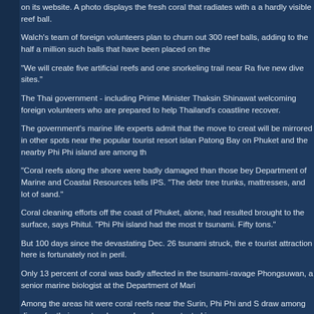on its website. A photo displays the fresh coral that radiates with a a hardly visible reef ball.
Walch's team of foreign volunteers plan to churn out 300 reef balls, adding to the half a million such balls that have been placed on the
"We will create five artificial reefs and one snorkeling trail near Ra five new dive sites."
The Thai government - including Prime Minister Thaksin Shinawat welcoming foreign volunteers who are prepared to help Thailand's coastline recover.
The government's marine life experts admit that the move to creat will be mirrored in other spots near the popular tourist resort islan Patong Bay on Phuket and the nearby Phi Phi island are among th
"Coral reefs along the shore were badly damaged than those bey Department of Marine and Coastal Resources tells IPS. "The debr tree trunks, mattresses, and lot of sand."
Coral cleaning efforts off the coast of Phuket, alone, had resulted brought to the surface, says Phitul. "Phi Phi island had the most tr tsunami. Fifty tons."
But 100 days since the devastating Dec. 26 tsunami struck, the e tourist attraction here is fortunately not in peril.
Only 13 percent of coral was badly affected in the tsunami-ravage Phongsuwan, a senior marine biologist at the Department of Mari
Among the areas hit were coral reefs near the Surin, Phi Phi and draw among divers for their spectacular coral gardens protected in
But Niphon admits that some of the damage to the reefs arose fro along Thailand's south-western coast. "We have to accept that we some places land reclamation was a factor that affected the coral r
Excessive diving has chipped away at the underwater beauty, larg anchoring in the midst of a coral reef or divers stepping on the cor
According to available estimates, the island of Phuket attracts d